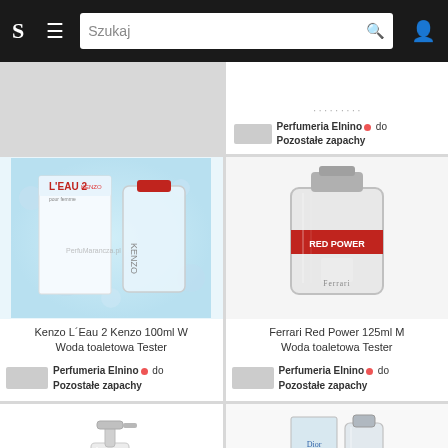S  ≡  Szukaj 🔍  👤
[Figure (screenshot): Partial product card top-right: Perfumeria Elnino dot do Pozostałe zapachy]
[Figure (photo): Kenzo L'Eau 2 Kenzo 100ml W perfume bottle with box, blue water bubble background]
Kenzo L´Eau 2 Kenzo 100ml W Woda toaletowa Tester
Perfumeria Elnino • do Pozostałe zapachy
[Figure (photo): Ferrari Red Power 125ml M perfume bottle, silver and red design]
Ferrari Red Power 125ml M Woda toaletowa Tester
Perfumeria Elnino • do Pozostałe zapachy
[Figure (photo): White skincare/serum bottle with pump dispenser]
[Figure (photo): Dior Addict perfume box and bottle]